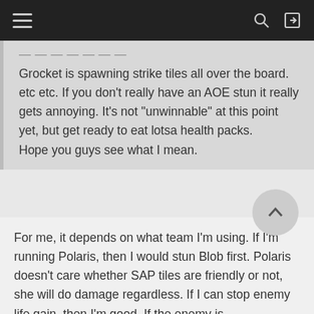[Navigation bar with hamburger menu, search, and login icons]
Grocket is spawning strike tiles all over the board. etc etc. If you don't really have an AOE stun it really gets annoying. It's not "unwinnable" at this point yet, but get ready to eat lotsa health packs.
Hope you guys see what I mean.
For me, it depends on what team I'm using. If I'm running Polaris, then I would stun Blob first. Polaris doesn't care whether SAP tiles are friendly or not, she will do damage regardless. If I can stop enemy life gain, then I'm good. If the enemy is Medusa/Polaris/Blob, then I would stun Medusa first. Now, if I'm not running Polaris, I will always target Polaris first since she is the fuel of any Polaris-based team. Grocket is not that big of a deal without a shield. I often take him out last. With that said